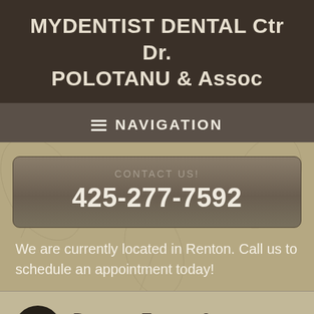MYDENTIST DENTAL Ctr Dr. POLOTANU & Assoc
NAVIGATION
CONTACT US!
425-277-7592
We are currently located in Renton. Call us to schedule an appointment today!
Denture Exams & Maintenance